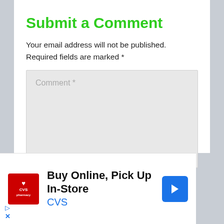Submit a Comment
Your email address will not be published. Required fields are marked *
[Figure (screenshot): Comment text area input box with placeholder text 'Comment *' on a light grey background]
[Figure (screenshot): CVS Pharmacy advertisement banner: CVS red logo on left, text 'Buy Online, Pick Up In-Store' with 'CVS' in blue, blue navigation arrow icon on right]